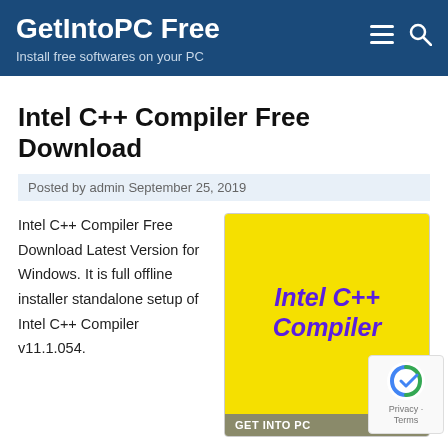GetIntoPC Free — Install free softwares on your PC
Intel C++ Compiler Free Download
Posted by admin September 25, 2019
Intel C++ Compiler Free Download Latest Version for Windows. It is full offline installer standalone setup of Intel C++ Compiler v11.1.054.
[Figure (illustration): Yellow promotional image with purple bold italic text 'Intel C++ Compiler' and a grey footer bar reading 'GET INTO PC']
Intel C++
Translate »